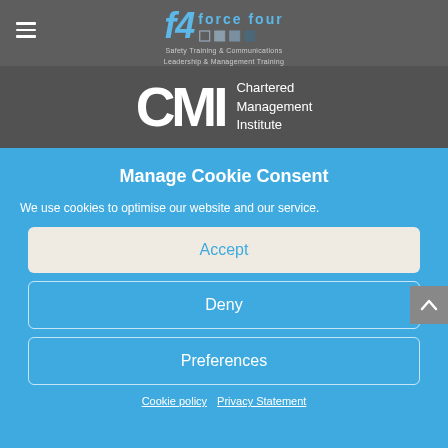[Figure (logo): Force Four logo with f4 lettering, colored squares, and taglines 'Safety Training & Communications' and 'Leadership & Management Training']
[Figure (logo): CMI - Chartered Management Institute logo in white on dark grey background]
Manage Cookie Consent
We use cookies to optimise our website and our service.
Accept
Deny
Preferences
Cookie policy   Privacy Statement